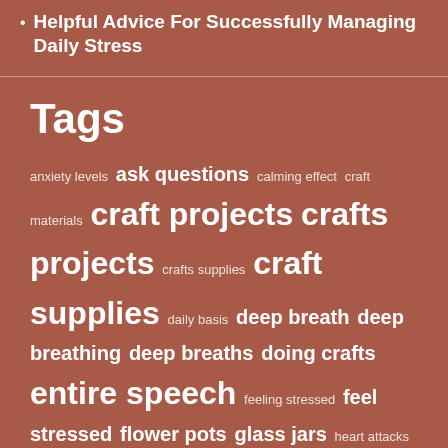Helpful Advice For Successfully Managing Daily Stress
Tags
anxiety levels ask questions calming effect craft materials craft projects crafts projects crafts supplies craft supplies daily basis deep breath deep breathing deep breaths doing crafts entire speech feeling stressed feel stressed flower pots glass jars heart attacks hot bath less stressed Life limbic system music therapy pay attention peanut butter pores public speaker